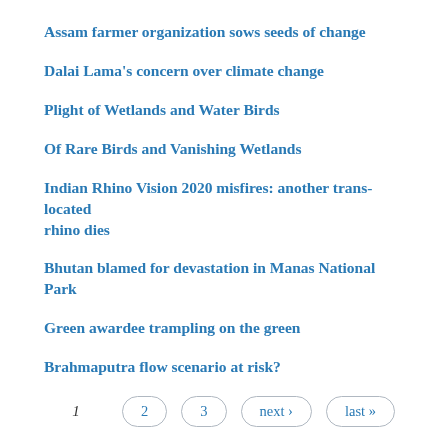Assam farmer organization sows seeds of change
Dalai Lama's concern over climate change
Plight of Wetlands and Water Birds
Of Rare Birds and Vanishing Wetlands
Indian Rhino Vision 2020 misfires: another trans-located rhino dies
Bhutan blamed for devastation in Manas National Park
Green awardee trampling on the green
Brahmaputra flow scenario at risk?
1   2   3   next ›   last »